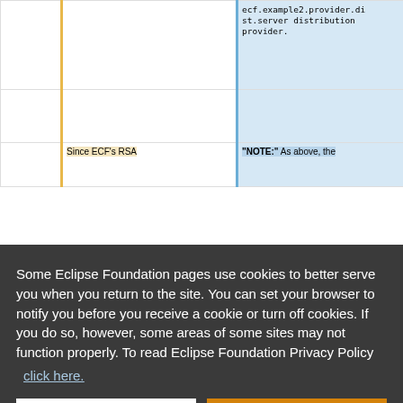|  | ecf.example2.provider.dist.server distribution provider. |
|  |  |
| Since ECF's RSA | "NOTE:" As above, the |
Some Eclipse Foundation pages use cookies to better serve you when you return to the site. You can set your browser to notify you before you receive a cookie or turn off cookies. If you do so, however, some areas of some sites may not function properly. To read Eclipse Foundation Privacy Policy click here.
Decline
Allow cookies
|  | provider implementation | should be registered |